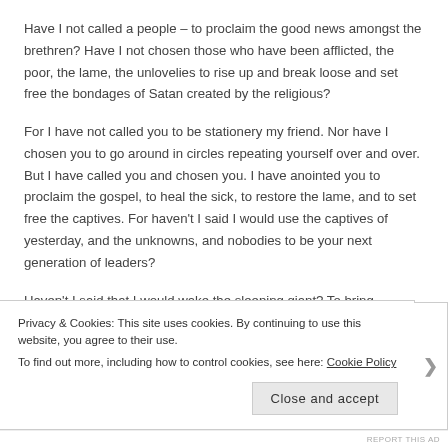Have I not called a people – to proclaim the good news amongst the brethren?  Have  I not chosen those who have been afflicted, the poor, the lame,  the unlovelies to rise up and break loose and set free the bondages of Satan created by the religious?
For I have not called you to be stationery my friend.  Nor have I chosen you to go  around in circles repeating yourself  over and over.  But I have called you and chosen you.  I have anointed you to proclaim the gospel, to heal the sick, to restore the lame, and to set free the captives.  For haven't I said I would use the captives of yesterday, and the unknowns, and nobodies to be your next generation of leaders?
Haven't I said that I would wake the sleeping giant?  To bring...
Privacy & Cookies: This site uses cookies. By continuing to use this website, you agree to their use.
To find out more, including how to control cookies, see here: Cookie Policy